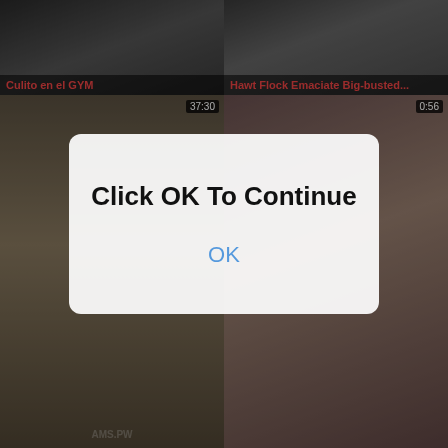[Figure (screenshot): Video thumbnail grid showing adult video website with multiple thumbnails. Top row: 'Culito en el GYM' and 'Hawt Flock Emaciate Big-busted...'. Middle row: 'Tall, Astonis...' (37:30) and '...good Le...' (0:56). Lower row: 'Enquire into A Warming up Candi...' and 'Bush-leaguer Hottie Receives B...' (8:50). Bottom partial row: two more thumbnails (25:24, 10:38).]
Click OK To Continue
OK